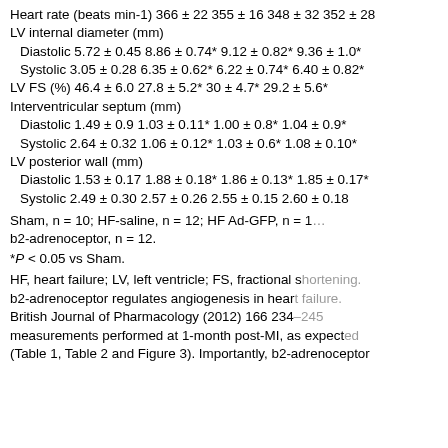| Heart rate (beats min-1) | 366 ± 22 | 355 ± 16 | 348 ± 32 | 352 ± 28 |
| LV internal diameter (mm) |  |  |  |  |
| Diastolic | 5.72 ± 0.45 | 8.86 ± 0.74* | 9.12 ± 0.82* | 9.36 ± 1.0* |
| Systolic | 3.05 ± 0.28 | 6.35 ± 0.62* | 6.22 ± 0.74* | 6.40 ± 0.82* |
| LV FS (%) | 46.4 ± 6.0 | 27.8 ± 5.2* | 30 ± 4.7* | 29.2 ± 5.6* |
| Interventricular septum (mm) |  |  |  |  |
| Diastolic | 1.49 ± 0.9 | 1.03 ± 0.11* | 1.00 ± 0.8* | 1.04 ± 0.9* |
| Systolic | 2.64 ± 0.32 | 1.06 ± 0.12* | 1.03 ± 0.6* | 1.08 ± 0.10* |
| LV posterior wall (mm) |  |  |  |  |
| Diastolic | 1.53 ± 0.17 | 1.88 ± 0.18* | 1.86 ± 0.13* | 1.85 ± 0.17* |
| Systolic | 2.49 ± 0.30 | 2.57 ± 0.26 | 2.55 ± 0.15 | 2.60 ± 0.18 |
Sham, n = 10; HF-saline, n = 12; HF Ad-GFP, n = 12; HF Ad-b2-adrenoceptor, n = 12.
*P < 0.05 vs Sham.
HF, heart failure; LV, left ventricle; FS, fractional shortening. b2-adrenoceptor regulates angiogenesis in heart failure. British Journal of Pharmacology (2012) 166 234–245 measurements performed at 1-month post-MI, as expected (Table 1, Table 2 and Figure 3). Importantly, b2-adrenoceptor